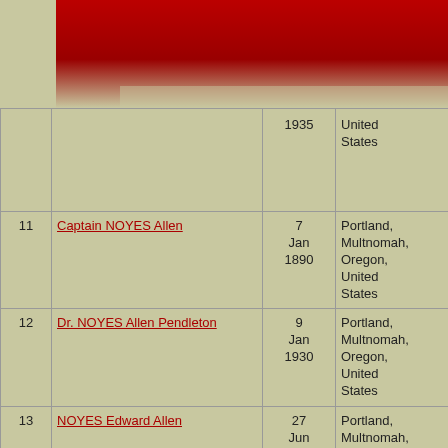| # | Name | Date | Place | ID | Link |
| --- | --- | --- | --- | --- | --- |
|  |  | 1935 | United States |  | Gen |
| 11 | Captain NOYES Allen | 7 Jan 1890 | Portland, Multnomah, Oregon, United States | I10492 | Noye Fam Gen |
| 12 | Dr. NOYES Allen Pendleton | 9 Jan 1930 | Portland, Multnomah, Oregon, United States | I3934 | Noys Fam Gen |
| 13 | NOYES Edward Allen | 27 Jun 1921 | Portland, Multnomah, Oregon, United States | I3982 | Noy Fam Gen |
| 14 | NOYES Frank Albert | 16 Jan 1977 | Portland, Multnomah, Oregon, United States | I14591 | Noy Fam Gen |
|  |  | 26 | Portland, Multnomah |  | Nov |